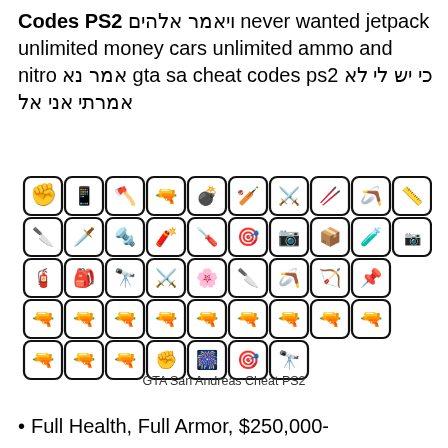Codes PS2 ויאמר אלהים never wanted jetpack unlimited money cars unlimited ammo and nitro אמר נא gta sa cheat codes ps2 כי יש לי לא אמרתי אני אל
[Figure (illustration): Grid of GTA San Andreas weapon icons in black and white, showing 5 rows of weapon images including melee weapons, firearms, explosives, and tools]
GTA San Andreas Cheat PS2
Full Health, Full Armor, $250,000-